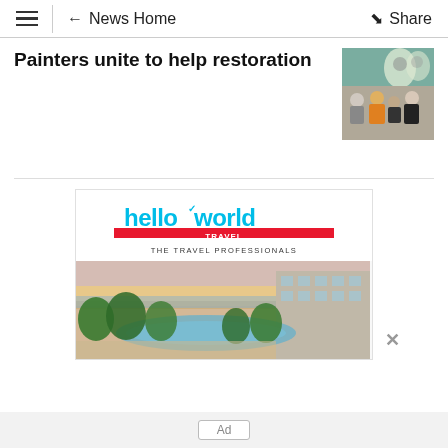≡  ← News Home  Share
Painters unite to help restoration
[Figure (photo): Group photo of painters in front of artwork]
[Figure (infographic): Helloworld Travel advertisement with resort pool photo. Logo reads 'helloworld TRAVEL THE TRAVEL PROFESSIONALS'. Photo shows tropical resort with pool and beach at dusk.]
Ad